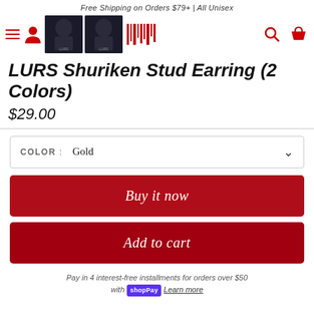Free Shipping on Orders $79+ | All Unisex
[Figure (screenshot): Navigation bar with hamburger menu, person icon, two product thumbnail images, barcode graphic, search icon, and basket icon]
LURS Shuriken Stud Earring (2 Colors)
$29.00
COLOR : Gold
Buy it now
Add to cart
Pay in 4 interest-free installments for orders over $50 with shop Pay Learn more